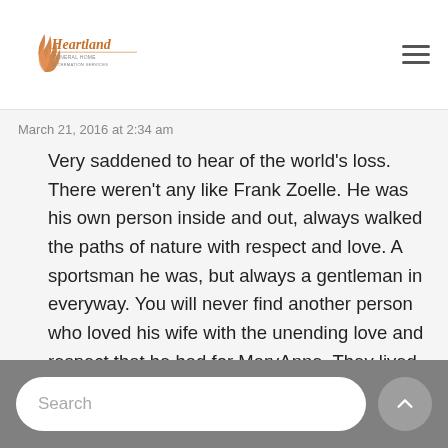[Figure (logo): Heartland Funeral Home & Cremation Services logo with stylized wheat/flame graphic]
March 21, 2016 at 2:34 am
Very saddened to hear of the world’s loss. There weren’t any like Frank Zoelle. He was his own person inside and out, always walked the paths of nature with respect and love. A sportsman he was, but always a gentleman in everyway. You will never find another person who loved his wife with the unending love and respect that he had for MaryAnne. They lived life to the fullest and never took each
Search